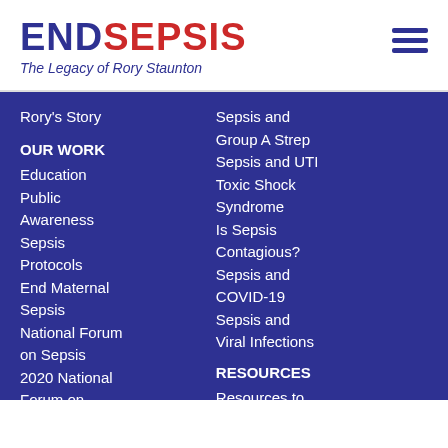ENDSEPSIS
The Legacy of Rory Staunton
Rory's Story
OUR WORK
Education
Public Awareness
Sepsis Protocols
End Maternal Sepsis
National Forum on Sepsis
2020 National Forum on Sepsis
Sepsis and Group A Strep
Sepsis and UTI
Toxic Shock Syndrome
Is Sepsis Contagious?
Sepsis and COVID-19
Sepsis and Viral Infections
RESOURCES
Resources to Share
Videos